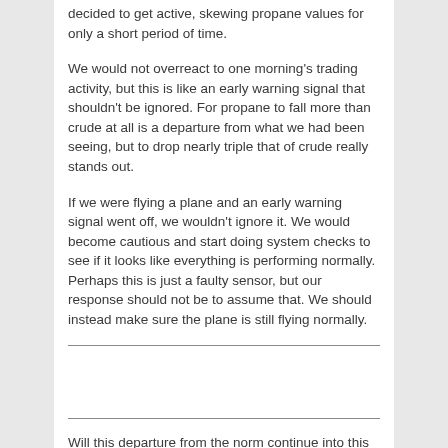decided to get active, skewing propane values for only a short period of time.
We would not overreact to one morning's trading activity, but this is like an early warning signal that shouldn't be ignored. For propane to fall more than crude at all is a departure from what we had been seeing, but to drop nearly triple that of crude really stands out.
If we were flying a plane and an early warning signal went off, we wouldn't ignore it. We would become cautious and start doing system checks to see if it looks like everything is performing normally. Perhaps this is just a faulty sensor, but our response should not be to assume that. We should instead make sure the plane is still flying normally.
Will this departure from the norm continue into this